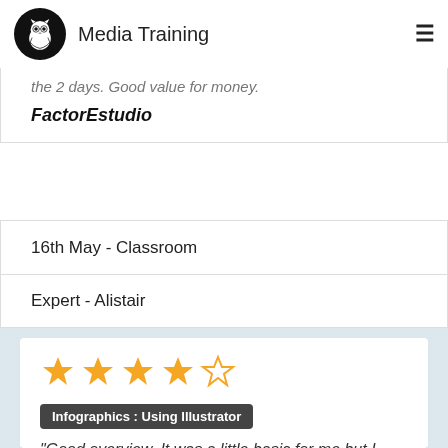Media Training
the 2 days. Good value for money.
FactorEstudio
16th May - Classroom
Expert - Alistair
[Figure (other): 4 out of 5 stars rating — four filled gold stars and one empty star]
Infographics : Using Illustrator
"Good overview. It was a little basic for me but I could